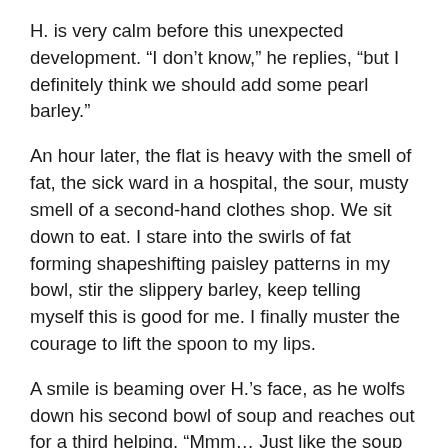H. is very calm before this unexpected development.  “I don’t know,” he replies, “but I definitely think we should add some pearl barley.”
An hour later, the flat is heavy with the smell of fat, the sick ward in a hospital, the sour, musty smell of a second-hand clothes shop.  We sit down to eat.  I stare into the swirls of fat forming shapeshifting paisley patterns in my bowl, stir the slippery barley, keep telling myself this is good for me.  I finally muster the courage to lift the spoon to my lips.
A smile is beaming over H.’s face, as he wolfs down his second bowl of soup and reaches out for a third helping.  “Mmm… Just like the soup my mother used to make,” he says, dewy-eyed.
I push my bowl away.  The yellowish, viscous liquid has